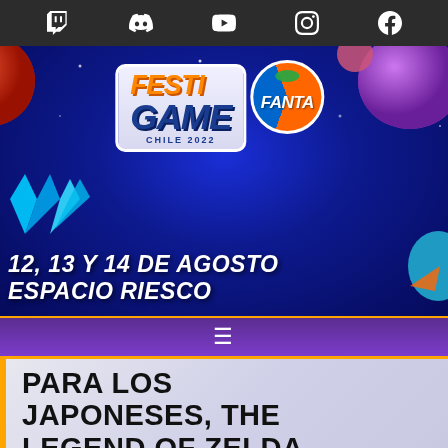Social media navigation bar with Twitch, Discord, YouTube, Instagram, Facebook icons
[Figure (illustration): FestiGame Fanta Chile 2022 event banner with space theme background showing planets, crystals, and colorful characters. Features the FestiGame logo in orange/blue and Fanta logo, with event dates 12, 13 y 14 de Agosto at Espacio Riesco.]
12, 13 Y 14 DE AGOSTO ESPACIO RIESCO
☰ (hamburger menu)
PARA LOS JAPONESES, THE LEGEND OF ZELDA